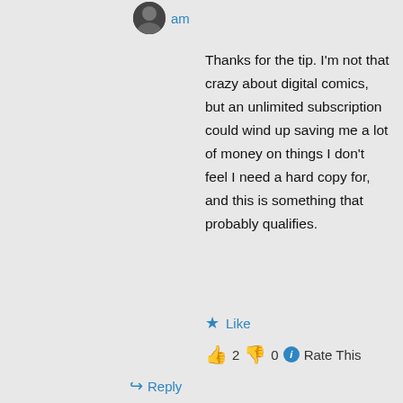am
Thanks for the tip. I'm not that crazy about digital comics, but an unlimited subscription could wind up saving me a lot of money on things I don't feel I need a hard copy for, and this is something that probably qualifies.
★ Like
👍 2 👎 0 ℹ Rate This
↪ Reply
Paul O'Connor on October 17, 2012 at 10:53 am